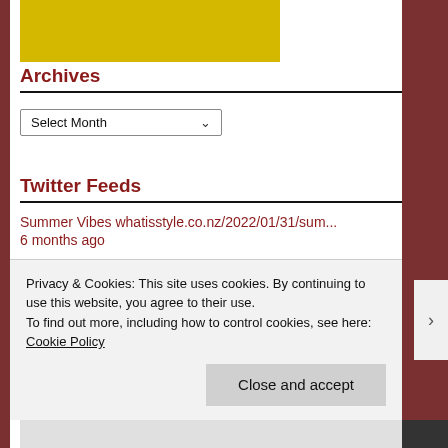[Figure (photo): Partial cropped image showing yellow/green tones, appears to be a flower or nature photo]
Archives
Select Month
Twitter Feeds
Summer Vibes whatisstyle.co.nz/2022/01/31/sum...
6 months ago
Tulip Talk whatisstyle.co.nz/2021/09/17/tul...
Privacy & Cookies: This site uses cookies. By continuing to use this website, you agree to their use.
To find out more, including how to control cookies, see here: Cookie Policy
Close and accept